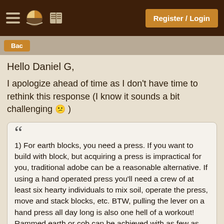Register / Login
Hello Daniel G,
I apologize ahead of time as I don't have time to rethink this response (I know it sounds a bit challenging 😕 )
"1) For earth blocks, you need a press. If you want to build with block, but acquiring a press is impractical for you, traditional adobe can be a reasonable alternative. If using a hand operated press you'll need a crew of at least six hearty individuals to mix soil, operate the press, move and stack blocks, etc. BTW, pulling the lever on a hand press all day long is also one hell of a workout! Rammed earth or cob can be achieved with as few as one or two people.
reply